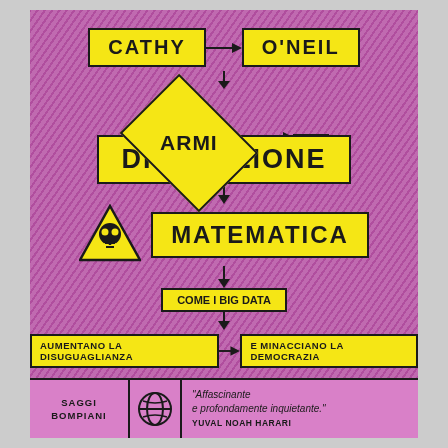CATHY O'NEIL
[Figure (flowchart): Flowchart-style book cover design with yellow diamond shape labeled ARMI, connected to yellow banner boxes: DI, DISTRUZIONE, MATEMATICA, with a danger triangle skull symbol, and bottom boxes: COME I BIG DATA, AUMENTANO LA DISUGUAGLIANZA, E MINACCIANO LA DEMOCRAZIA]
SAGGI BOMPIANI | "Affascinante e profondamente inquietante." YUVAL NOAH HARARI